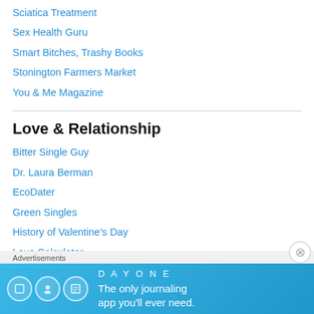Sciatica Treatment
Sex Health Guru
Smart Bitches, Trashy Books
Stonington Farmers Market
You & Me Magazine
Love & Relationship
Bitter Single Guy
Dr. Laura Berman
EcoDater
Green Singles
History of Valentine's Day
Love Calculator
Love Sessions Blog
Advertisements
[Figure (other): DAY ONE journaling app advertisement banner with blue background showing app icons and tagline 'The only journaling app you'll ever need.']